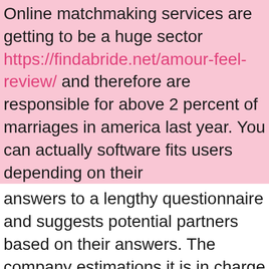Online matchmaking services are getting to be a huge sector https://findabride.net/amour-feel-review/ and therefore are responsible for above 2 percent of marriages in america last year. You can actually software fits users depending on their answers to a lengthy questionnaire and suggests potential partners based on their answers. The company estimations it is in charge of 120 wedding ceremonies a day. But is online matchmaking seriously all that is actually cracked up to be? Here are several factors to remember.
While using a matchmaking service, you'll have to stop some privateness. Matchmakers could be overly intrusive and may question personal questions that could be incorrect. You must be sure you're appropriate for the person that you